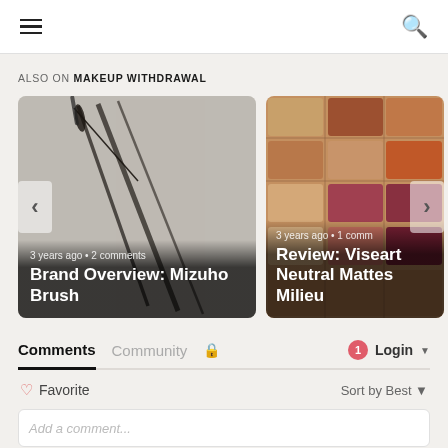≡  🔍 (navigation bar with hamburger menu and search icon)
ALSO ON MAKEUP WITHDRAWAL
[Figure (photo): Close-up photo of makeup brushes including a mascara wand and flat brushes against a grey background. Card showing: 3 years ago • 2 comments. Title: Brand Overview: Mizuho Brush. Left arrow and right arrow navigation overlaid.]
[Figure (photo): Close-up photo of a colorful eyeshadow palette with warm neutral and jewel tones. Card showing: 3 years ago • 1 comment. Title: Review: Viseart Neutral Mattes... Milieu. Right arrow overlaid.]
Comments   Community   🔒                     1  Login ▾
♡ Favorite                                              Sort by Best ▾
Add a comment...